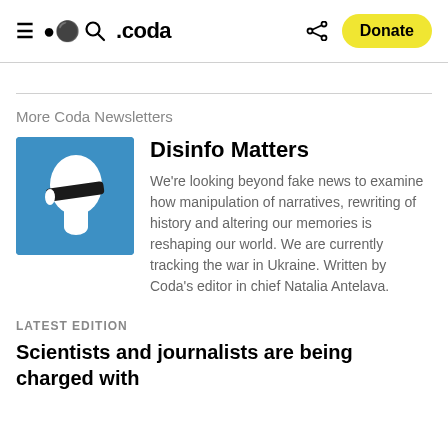.coda | Donate
More Coda Newsletters
[Figure (logo): Disinfo Matters newsletter logo: white silhouette of a head with a black blindfold on a blue square background]
Disinfo Matters
We're looking beyond fake news to examine how manipulation of narratives, rewriting of history and altering our memories is reshaping our world. We are currently tracking the war in Ukraine. Written by Coda's editor in chief Natalia Antelava.
LATEST EDITION
Scientists and journalists are being charged with